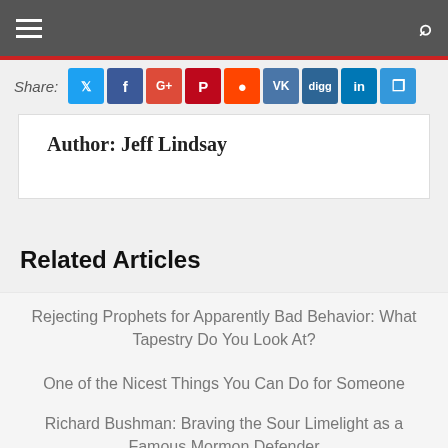Navigation bar with hamburger menu and search icon
Share:
Author: Jeff Lindsay
Related Articles
Rejecting Prophets for Apparently Bad Behavior: What Tapestry Do You Look At?
One of the Nicest Things You Can Do for Someone
Richard Bushman: Braving the Sour Limelight as a Famous Mormon Defender
Tap . . . Tap . . . Tap – Surely You Recognize That